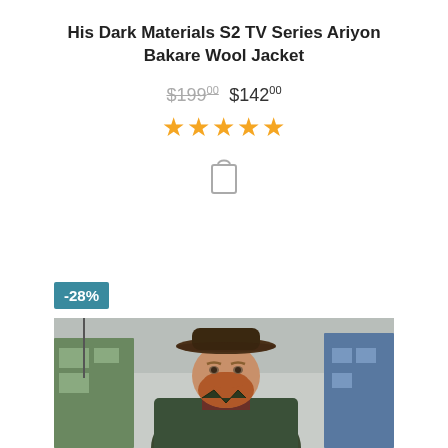His Dark Materials S2 TV Series Ariyon Bakare Wool Jacket
$199.00  $142.00
[Figure (other): Five gold/yellow star rating icons]
[Figure (other): Shopping bag icon (outline)]
-28%
[Figure (photo): Photo of a heavy-set man with a reddish beard wearing a brown fedora hat and a dark olive/green jacket with a dark red striped shirt underneath, standing in front of colorful wooden buildings with an overcast sky background — a scene from His Dark Materials TV series.]